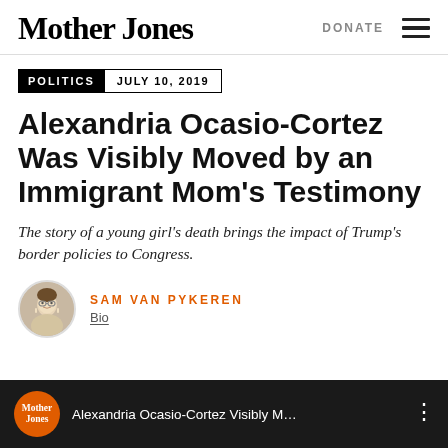Mother Jones  DONATE
POLITICS  JULY 10, 2019
Alexandria Ocasio-Cortez Was Visibly Moved by an Immigrant Mom's Testimony
The story of a young girl's death brings the impact of Trump's border policies to Congress.
SAM VAN PYKEREN
Bio
[Figure (screenshot): Mother Jones video thumbnail showing Alexandria Ocasio-Cortez Visibly M... with Mother Jones logo]